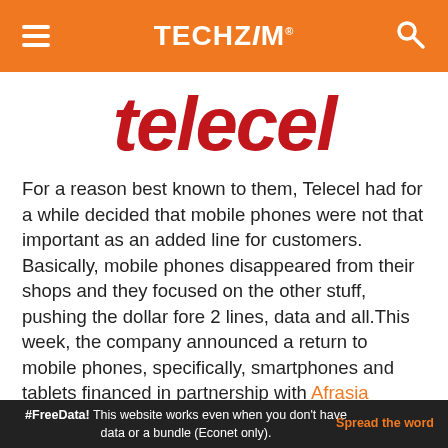TECHZiM
[Figure (logo): Telecel logo in red italic bold font]
For a reason best known to them, Telecel had for a while decided that mobile phones were not that important as an added line for customers. Basically, mobile phones disappeared from their shops and they focused on the other stuff, pushing the dollar fore 2 lines, data and all.This week, the company announced a return to mobile phones, specifically, smartphones and tablets financed in partnership with Afrasia Kingdom.
It's a move Telecel was expected make
#FreeData! This website works even when you don't have data or a bundle (Econet only). Spread the word